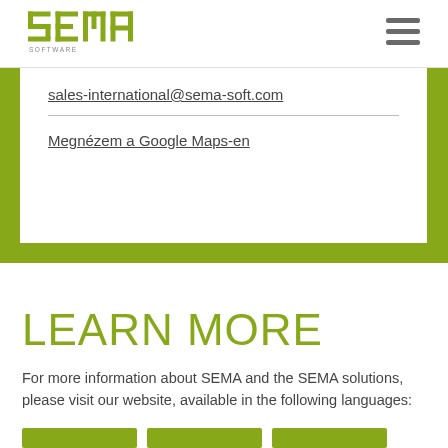SEMA SOFTWARE
sales-international@sema-soft.com
Megnézem a Google Maps-en
LEARN MORE
For more information about SEMA and the SEMA solutions, please visit our website, available in the following languages: